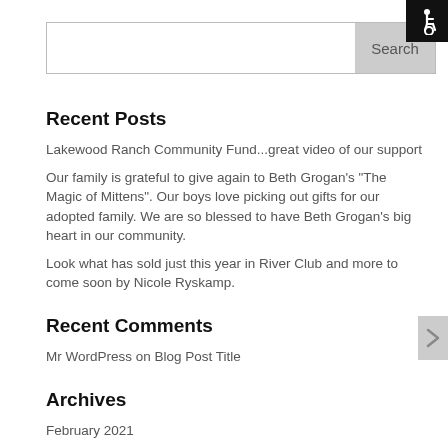[Figure (illustration): Accessibility icon (wheelchair symbol) in white on black background, top right corner]
Search
Recent Posts
Lakewood Ranch Community Fund...great video of our support
Our family is grateful to give again to Beth Grogan’s “The Magic of Mittens”. Our boys love picking out gifts for our adopted family. We are so blessed to have Beth Grogan’s big heart in our community.
Look what has sold just this year in River Club and more to come soon by Nicole Ryskamp.
Recent Comments
Mr WordPress on Blog Post Title
Archives
February 2021
November 2020